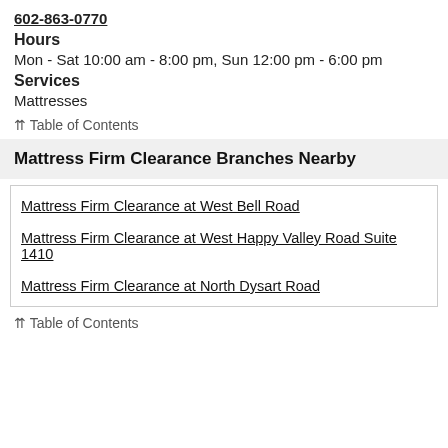602-863-0770
Hours
Mon - Sat 10:00 am - 8:00 pm, Sun 12:00 pm - 6:00 pm
Services
Mattresses
⇈ Table of Contents
Mattress Firm Clearance Branches Nearby
Mattress Firm Clearance at West Bell Road
Mattress Firm Clearance at West Happy Valley Road Suite 1410
Mattress Firm Clearance at North Dysart Road
⇈ Table of Contents